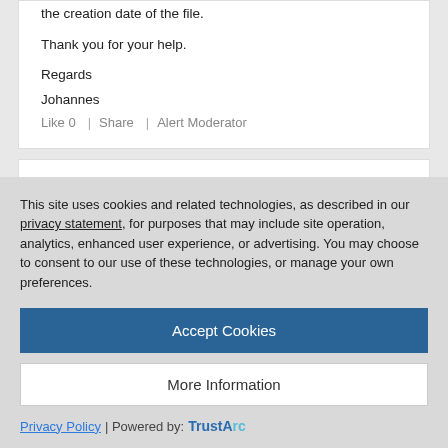the creation date of the file.
Thank you for your help.
Regards
Johannes
Like 0  |  Share  |  Alert Moderator
This site uses cookies and related technologies, as described in our privacy statement, for purposes that may include site operation, analytics, enhanced user experience, or advertising. You may choose to consent to our use of these technologies, or manage your own preferences.
Accept Cookies
More Information
Privacy Policy | Powered by: TrustArc